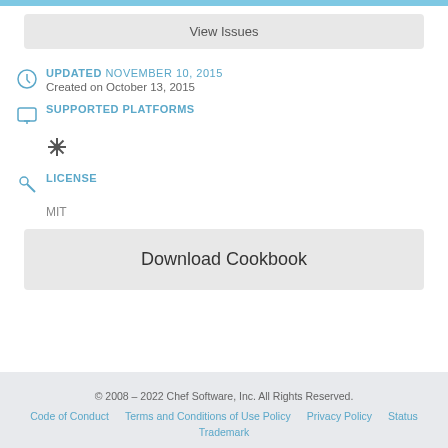View Issues
UPDATED NOVEMBER 10, 2015
Created on October 13, 2015
SUPPORTED PLATFORMS
LICENSE
MIT
Download Cookbook
© 2008 – 2022 Chef Software, Inc. All Rights Reserved.
Code of Conduct   Terms and Conditions of Use Policy   Privacy Policy   Status   Trademark